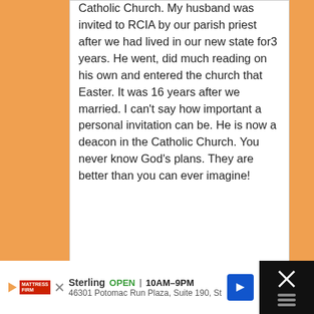Catholic Church. My husband was invited to RCIA by our parish priest after we had lived in our new state for3 years. He went, did much reading on his own and entered the church that Easter. It was 16 years after we married. I can't say how important a personal invitation can be. He is now a deacon in the Catholic Church. You never know God's plans. They are better than you can ever imagine!
Reply
Sterling  OPEN  10AM–9PM
46301 Potomac Run Plaza, Suite 190, St